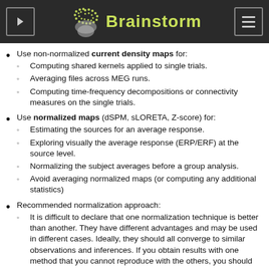Brainstorm
Use non-normalized current density maps for:
Computing shared kernels applied to single trials.
Averaging files across MEG runs.
Computing time-frequency decompositions or connectivity measures on the single trials.
Use normalized maps (dSPM, sLORETA, Z-score) for:
Estimating the sources for an average response.
Exploring visually the average response (ERP/ERF) at the source level.
Normalizing the subject averages before a group analysis.
Avoid averaging normalized maps (or computing any additional statistics)
Recommended normalization approach:
It is difficult to declare that one normalization technique is better than another. They have different advantages and may be used in different cases. Ideally, they should all converge to similar observations and inferences. If you obtain results with one method that you cannot reproduce with the others, you should question your findings.
dSPM and sLORETA are linear measures and can...